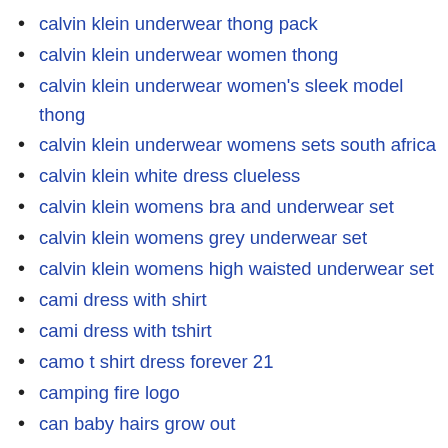calvin klein underwear thong pack
calvin klein underwear women thong
calvin klein underwear women's sleek model thong
calvin klein underwear womens sets south africa
calvin klein white dress clueless
calvin klein womens bra and underwear set
calvin klein womens grey underwear set
calvin klein womens high waisted underwear set
cami dress with shirt
cami dress with tshirt
camo t shirt dress forever 21
camping fire logo
can baby hairs grow out
can blood type change
can blood type change after pregnancy